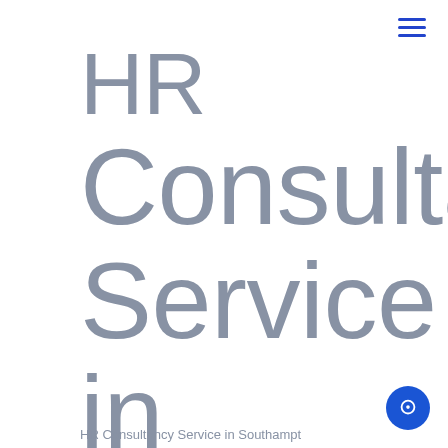[Figure (other): Hamburger menu icon with three blue horizontal lines in top right corner]
HR Consultancy Service in Southampton
HR Consultancy Service in Southampton